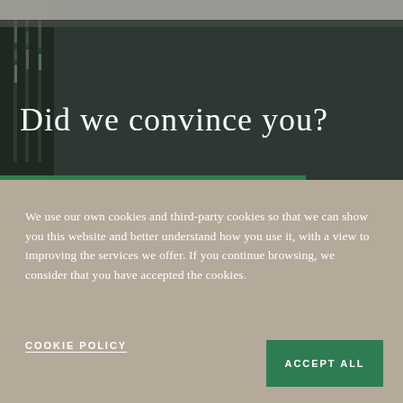[Figure (photo): Dark interior room photo with bookshelves on left and a dark wall/ceiling. Large white serif text overlaid reads 'Did we convince you?' with a green accent bar near the bottom of the image.]
We use our own cookies and third-party cookies so that we can show you this website and better understand how you use it, with a view to improving the services we offer. If you continue browsing, we consider that you have accepted the cookies.
COOKIE POLICY
ACCEPT ALL